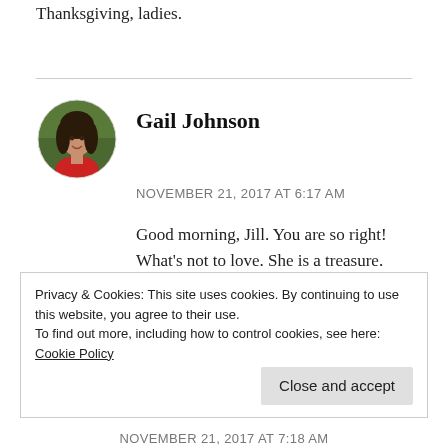Thanksgiving, ladies.
[Figure (photo): Circular avatar photo of Gail Johnson, a woman with dark hair wearing a red top, outdoors background]
Gail Johnson
NOVEMBER 21, 2017 AT 6:17 AM
Good morning, Jill. You are so right! What’s not to love. She is a treasure. Happy Thanksgiving! 🙂
Privacy & Cookies: This site uses cookies. By continuing to use this website, you agree to their use.
To find out more, including how to control cookies, see here: Cookie Policy
Close and accept
NOVEMBER 21, 2017 AT 7:18 AM